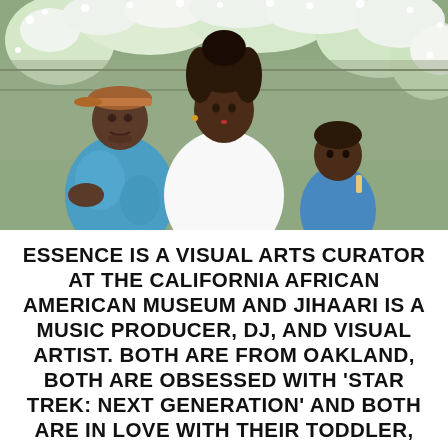[Figure (photo): A family of three posed outdoors in front of lush flowering bushes with white blooms. On the left, a man wearing a brown cap and blue tie-dye sweatshirt sits casually. In the center, a woman with loc'd hair wearing a white long-sleeve top looks directly at the camera. On the right, a young toddler in a blue outfit peeks from behind the woman.]
ESSENCE IS A VISUAL ARTS CURATOR AT THE CALIFORNIA AFRICAN AMERICAN MUSEUM AND JIHAARI IS A MUSIC PRODUCER, DJ, AND VISUAL ARTIST. BOTH ARE FROM OAKLAND, BOTH ARE OBSESSED WITH 'STAR TREK: NEXT GENERATION' AND BOTH ARE IN LOVE WITH THEIR TODDLER, BABY O.